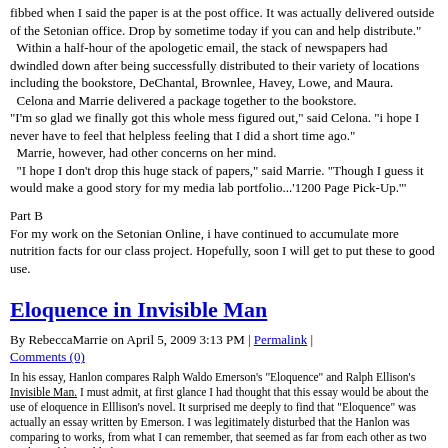fibbed when I said the paper is at the post office.  It was actually delivered outside of the Setonian office.  Drop by sometime today if you can and help distribute."
  Within a half-hour of the apologetic email, the stack of newspapers had dwindled down after being successfully distributed to their variety of locations including the bookstore, DeChantal, Brownlee, Havey, Lowe, and Maura.
  Celona and Marrie delivered a package together to the bookstore.
"I'm so glad we finally got this whole mess figured out," said Celona. "i hope I never have to feel that helpless feeling that I did a short time ago."
  Marrie, however, had other concerns on her mind.
  "I hope I don't drop this huge stack of papers," said Marrie.  "Though I guess it would make a good story for my media lab portfolio...'1200 Page Pick-Up.'"
Part B
For my work on the Setonian Online, i have continued to accumulate more nutrition facts for our class project.  Hopefully, soon I will get to put these to good use.
Eloquence in Invisible Man
By RebeccaMarrie on April 5, 2009 3:13 PM | Permalink | Comments (0)
In his essay, Hanlon compares Ralph Waldo Emerson's "Eloquence" and Ralph Ellison's Invisible Man.  I must admit, at first glance I had thought that this essay would be about the use of eloquence in Elllison's novel.  It surprised me deeply to find that "Eloquence" was actually an essay written by Emerson.  I was legitimately disturbed that the Hanlon was comparing to works, from what I can remember, that seemed as far from each other as two works could possibly be.